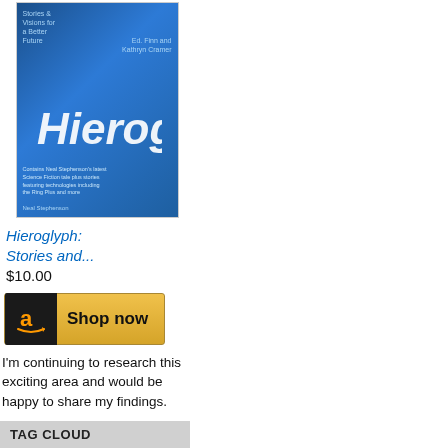[Figure (illustration): Book cover for 'Hieroglyph: Stories and...' with blue cover and illustrated design]
Hieroglyph: Stories and...
$10.00
[Figure (other): Amazon 'Shop now' button with Amazon logo on dark background and yellow button]
I'm continuing to research this exciting area and would be happy to share my findings.
TAG CLOUD
Ashes of Candesce Audiobooks Aurora Awards, conventions Australia Crisis in Urlia Crisis in Zefra Firefly Foresight, Scenario Fictions Gennady Malianov Graphic Novels Graphic novels